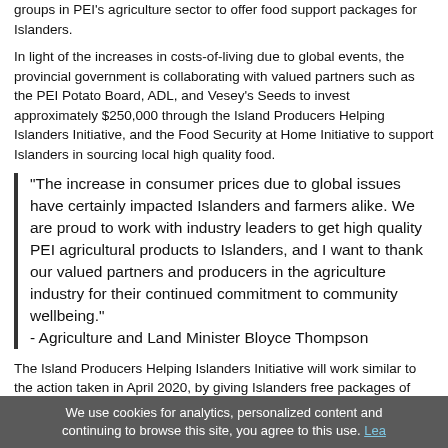groups in PEI's agriculture sector to offer food support packages for Islanders.
In light of the increases in costs-of-living due to global events, the provincial government is collaborating with valued partners such as the PEI Potato Board, ADL, and Vesey's Seeds to invest approximately $250,000 through the Island Producers Helping Islanders Initiative, and the Food Security at Home Initiative to support Islanders in sourcing local high quality food.
“The increase in consumer prices due to global issues have certainly impacted Islanders and farmers alike. We are proud to work with industry leaders to get high quality PEI agricultural products to Islanders, and I want to thank our valued partners and producers in the agriculture industry for their continued commitment to community wellbeing.” - Agriculture and Land Minister Bloyce Thompson
The Island Producers Helping Islanders Initiative will work similar to the action taken in April 2020, by giving Islanders free packages of local potatoes and dairy products. The local food products will be available at the following locations from
We use cookies for analytics, personalized content and continuing to browse this site, you agree to this use. Lea